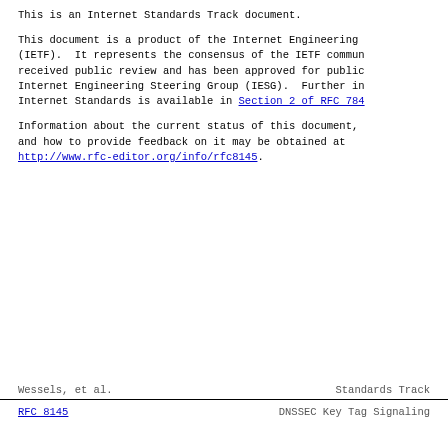This is an Internet Standards Track document.
This document is a product of the Internet Engineering Task Force (IETF).  It represents the consensus of the IETF community.  It received public review and has been approved for publication by the Internet Engineering Steering Group (IESG).  Further information on Internet Standards is available in Section 2 of RFC 7841.
Information about the current status of this document, errata, and how to provide feedback on it may be obtained at http://www.rfc-editor.org/info/rfc8145.
Wessels, et al.                 Standards Track

RFC 8145                    DNSSEC Key Tag Signaling